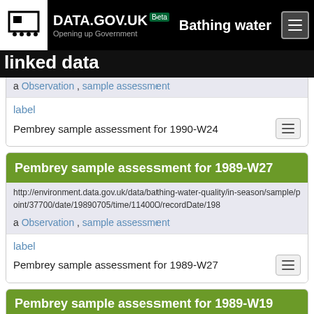DATA.GOV.UK Beta — Opening up Government — Bathing water linked data
a Observation , sample assessment
label
Pembrey sample assessment for 1990-W24
Pembrey sample assessment for 1989-W27
http://environment.data.gov.uk/data/bathing-water-quality/in-season/sample/point/37700/date/19890705/time/114000/recordDate/198
a Observation , sample assessment
label
Pembrey sample assessment for 1989-W27
Pembrey sample assessment for 1989-W19
http://environment.data.gov.uk/data/bathing-water-quality/in-season/sample/point/37700/date/19890509/time/121500/recordDate/198
a Observation , sample assessment
label